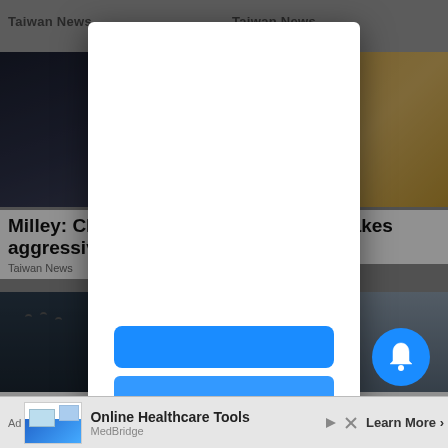Taiwan News    Taiwan News
[Figure (screenshot): News website screenshot showing Taiwan News articles, with a modal dialog overlay containing a blue button, a bell notification button, and an ad bar at the bottom for 'Online Healthcare Tools' by MedBridge]
Milley: Chi... aggressive...
Taiwan News
era Makes em...
US airc... returns ...ussian O...
Ad  Online Healthcare Tools  MedBridge  Learn More